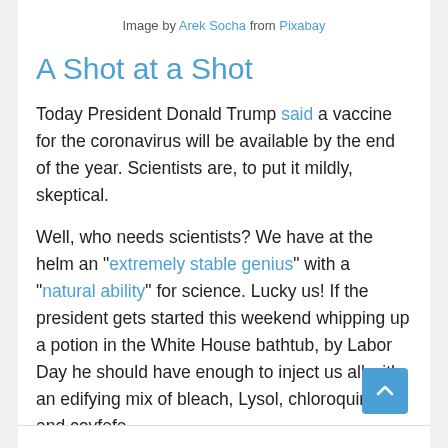Image by Arek Socha from Pixabay
A Shot at a Shot
Today President Donald Trump said a vaccine for the coronavirus will be available by the end of the year. Scientists are, to put it mildly, skeptical.
Well, who needs scientists? We have at the helm an "extremely stable genius" with a "natural ability" for science. Lucky us! If the president gets started this weekend whipping up a potion in the White House bathtub, by Labor Day he should have enough to inject us all with an edifying mix of bleach, Lysol, chloroquine and covfefe.